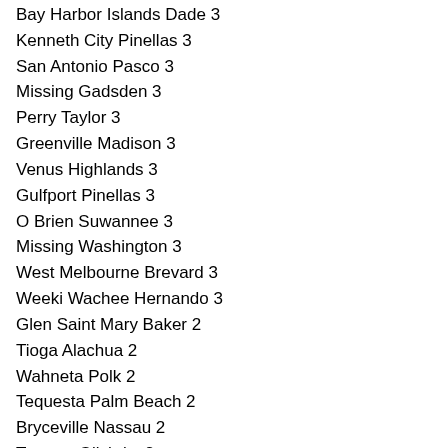Bay Harbor Islands Dade 3
Kenneth City Pinellas 3
San Antonio Pasco 3
Missing Gadsden 3
Perry Taylor 3
Greenville Madison 3
Venus Highlands 3
Gulfport Pinellas 3
O Brien Suwannee 3
Missing Washington 3
West Melbourne Brevard 3
Weeki Wachee Hernando 3
Glen Saint Mary Baker 2
Tioga Alachua 2
Wahneta Polk 2
Tequesta Palm Beach 2
Bryceville Nassau 2
Trenton Gilchrist 2